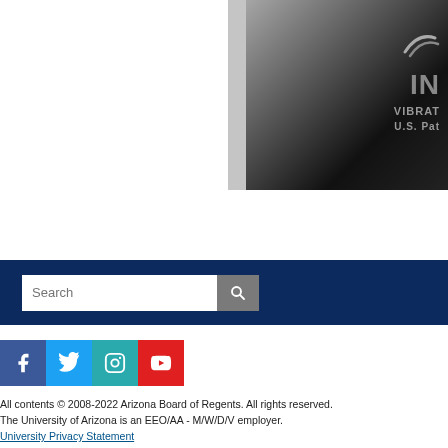[Figure (photo): Partial photo of a dark/black device with text showing 'IN' and 'VIBRAT' and 'U.S. Pat' partially visible, gray background, right side of page cropped]
Search
All contents © 2008-2022 Arizona Board of Regents. All rights reserved.
The University of Arizona is an EEO/AA - M/W/D/V employer.
University Privacy Statement